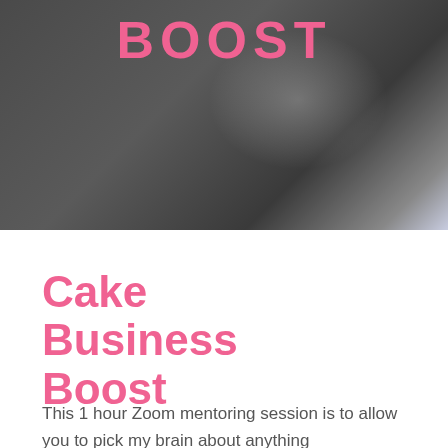[Figure (photo): Dark gray/charcoal background photo with a light reflection or highlight on the right side, giving a glossy surface effect. Used as a header image.]
BOOST
Cake Business Boost
This 1 hour Zoom mentoring session is to allow you to pick my brain about anything